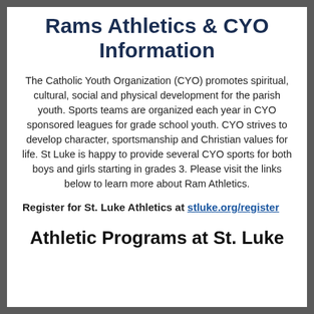Rams Athletics & CYO Information
The Catholic Youth Organization (CYO) promotes spiritual, cultural, social and physical development for the parish youth. Sports teams are organized each year in CYO sponsored leagues for grade school youth. CYO strives to develop character, sportsmanship and Christian values for life. St Luke is happy to provide several CYO sports for both boys and girls starting in grades 3. Please visit the links below to learn more about Ram Athletics.
Register for St. Luke Athletics at stluke.org/register
Athletic Programs at St. Luke